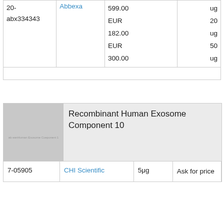| ID | Vendor | Price | Size |
| --- | --- | --- | --- |
| 20-abx334343 | Abbexa | 599.00 EUR
182.00 EUR
300.00 | ug
20
ug
50
ug |
[Figure (photo): Placeholder product image for Recombinant Human Exosome Component 10]
Recombinant Human Exosome Component 10
| ID | Vendor | Size | Price |
| --- | --- | --- | --- |
| 7-05905 | CHI Scientific | 5μg | Ask for price |